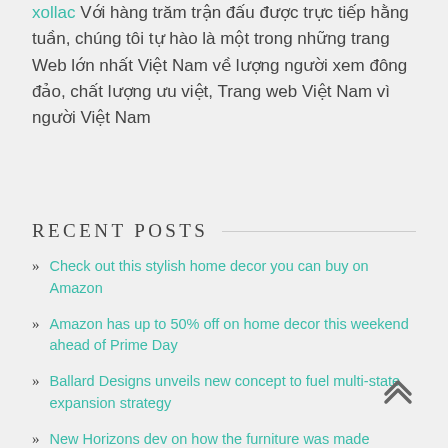xollac Với hàng trăm trận đấu được trực tiếp hằng tuần, chúng tôi tự hào là một trong những trang Web lớn nhất Việt Nam về lượng người xem đông đảo, chất lượng ưu việt, Trang web Việt Nam vì người Việt Nam
RECENT POSTS
Check out this stylish home decor you can buy on Amazon
Amazon has up to 50% off on home decor this weekend ahead of Prime Day
Ballard Designs unveils new concept to fuel multi-state expansion strategy
New Horizons dev on how the furniture was made